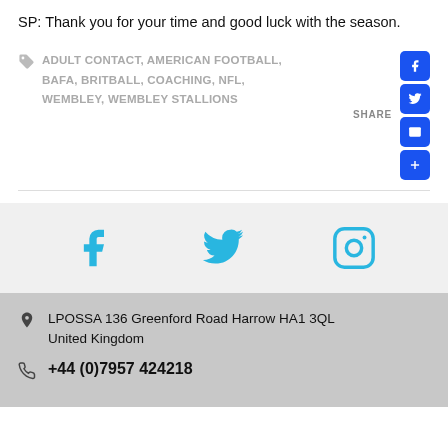SP: Thank you for your time and good luck with the season.
ADULT CONTACT, AMERICAN FOOTBALL, BAFA, BRITBALL, COACHING, NFL, WEMBLEY, WEMBLEY STALLIONS
[Figure (infographic): Social share buttons column: Facebook (blue), Twitter (blue), Email (blue), More/Plus (blue), with SHARE label]
[Figure (infographic): Social media icon bar with Facebook, Twitter, and Instagram icons in light blue on grey background]
LPOSSA 136 Greenford Road Harrow HA1 3QL United Kingdom
+44 (0)7957 424218